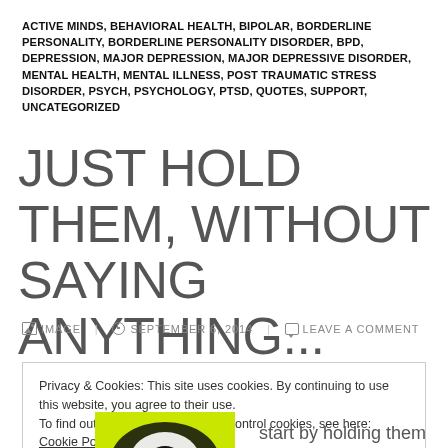ACTIVE MINDS, BEHAVIORAL HEALTH, BIPOLAR, BORDERLINE PERSONALITY, BORDERLINE PERSONALITY DISORDER, BPD, DEPRESSION, MAJOR DEPRESSION, MAJOR DEPRESSIVE DISORDER, MENTAL HEALTH, MENTAL ILLNESS, POST TRAUMATIC STRESS DISORDER, PSYCH, PSYCHOLOGY, PTSD, QUOTES, SUPPORT, UNCATEGORIZED
JUST HOLD THEM, WITHOUT SAYING ANYTHING...
IMAGE   SEPTEMBER 6, 2014   LEAVE A COMMENT
Privacy & Cookies: This site uses cookies. By continuing to use this website, you agree to their use. To find out more, including how to control cookies, see here: Cookie Policy
Close and accept
start by holding them